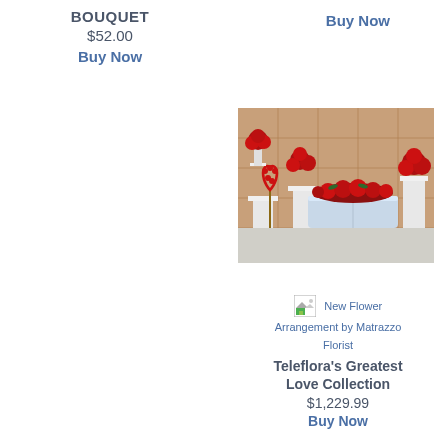BOUQUET
$52.00
Buy Now
Buy Now
[Figure (photo): Funeral flower arrangement with red roses on a silver casket with heart wreath and floral stands against wood paneled wall]
[Figure (photo): New Flower Arrangement by Matrazzo Florist - broken image placeholder]
Teleflora's Greatest Love Collection
$1,229.99
Buy Now